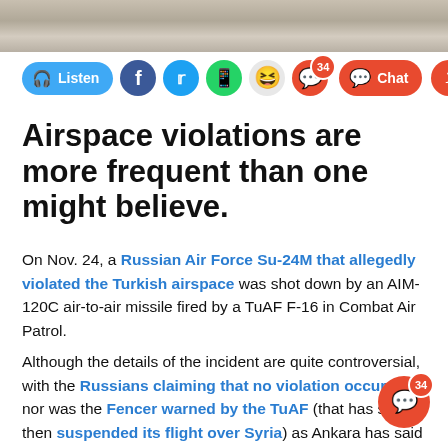[Figure (photo): Wooden table surface background image strip at top of page]
[Figure (infographic): Social sharing bar with Listen button, Facebook, Twitter, WhatsApp, emoji, chat (34 notifications), and share icons]
Airspace violations are more frequent than one might believe.
On Nov. 24, a Russian Air Force Su-24M that allegedly violated the Turkish airspace was shot down by an AIM-120C air-to-air missile fired by a TuAF F-16 in Combat Air Patrol.
Although the details of the incident are quite controversial, with the Russians claiming that no violation occurred nor was the Fencer warned by the TuAF (that has since then suspended its flight over Syria) as Ankara has said since beginning, it is safe to say that violations occur every now and then and rarely they end up with the downing of the int...